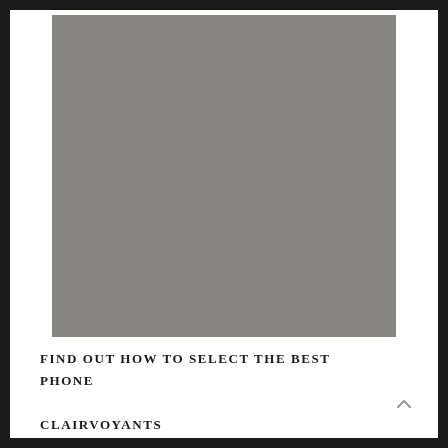[Figure (photo): Large grey/placeholder image occupying the upper portion of the page]
FIND OUT HOW TO SELECT THE BEST PHONE CLAIRVOYANTS